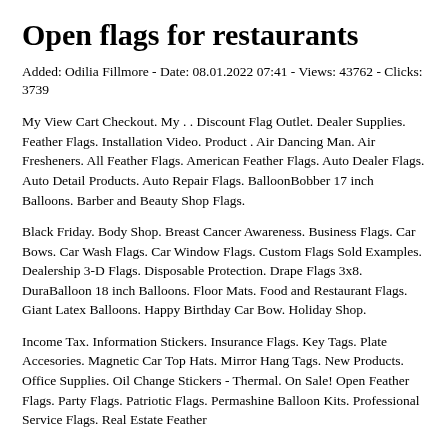Open flags for restaurants
Added: Odilia Fillmore - Date: 08.01.2022 07:41 - Views: 43762 - Clicks: 3739
My View Cart Checkout. My . . Discount Flag Outlet. Dealer Supplies. Feather Flags. Installation Video. Product . Air Dancing Man. Air Fresheners. All Feather Flags. American Feather Flags. Auto Dealer Flags. Auto Detail Products. Auto Repair Flags. BalloonBobber 17 inch Balloons. Barber and Beauty Shop Flags.
Black Friday. Body Shop. Breast Cancer Awareness. Business Flags. Car Bows. Car Wash Flags. Car Window Flags. Custom Flags Sold Examples. Dealership 3-D Flags. Disposable Protection. Drape Flags 3x8. DuraBalloon 18 inch Balloons. Floor Mats. Food and Restaurant Flags. Giant Latex Balloons. Happy Birthday Car Bow. Holiday Shop.
Income Tax. Information Stickers. Insurance Flags. Key Tags. Plate Accesories. Magnetic Car Top Hats. Mirror Hang Tags. New Products. Office Supplies. Oil Change Stickers - Thermal. On Sale! Open Feather Flags. Party Flags. Patriotic Flags. Permashine Balloon Kits. Professional Service Flags. Real Estate Feather